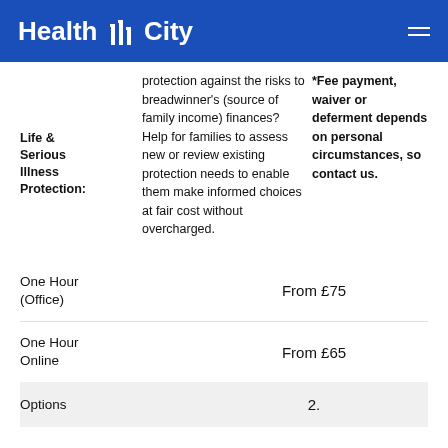Health City
Life & Serious Illness Protection: protection against the risks to breadwinner's (source of family income) finances? Help for families to assess new or review existing protection needs to enable them make informed choices at fair cost without overcharged. *Fee payment, waiver or deferment depends on personal circumstances, so contact us.
| Service | Fee |
| --- | --- |
| One Hour (Office) | From £75 |
| One Hour Online | From £65 |
| Options | 2. |